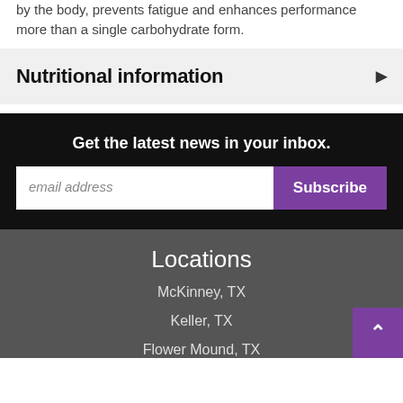by the body, prevents fatigue and enhances performance more than a single carbohydrate form.
Nutritional information
Get the latest news in your inbox.
email address  Subscribe
Locations
McKinney, TX
Keller, TX
Flower Mound, TX